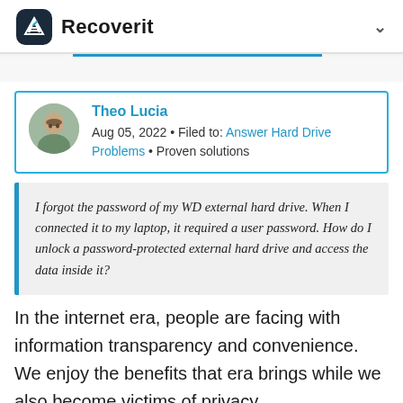Recoverit
Theo Lucia
Aug 05, 2022 • Filed to: Answer Hard Drive Problems • Proven solutions
I forgot the password of my WD external hard drive. When I connected it to my laptop, it required a user password. How do I unlock a password-protected external hard drive and access the data inside it?
In the internet era, people are facing with information transparency and convenience. We enjoy the benefits that era brings while we also become victims of privacy